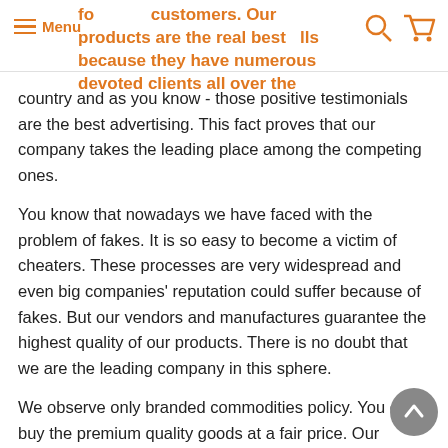Menu | fo customers. Our products are the real best ells because they have numerous devoted clients all over the
country and as you know - those positive testimonials are the best advertising. This fact proves that our company takes the leading place among the competing ones.
You know that nowadays we have faced with the problem of fakes. It is so easy to become a victim of cheaters. These processes are very widespread and even big companies' reputation could suffer because of fakes. But our vendors and manufactures guarantee the highest quality of our products. There is no doubt that we are the leading company in this sphere.
We observe only branded commodities policy. You can buy the premium quality goods at a fair price. Our company cares about the clients and never lets them down. We are the constant participants of different social and technological researches. Our goods have a great number of different useful and functional options. The products of our store are well-designed and very user-friendly. We are always in touch with the latest fashion and hi-tech tendencies.
If you want to know more information you can address our